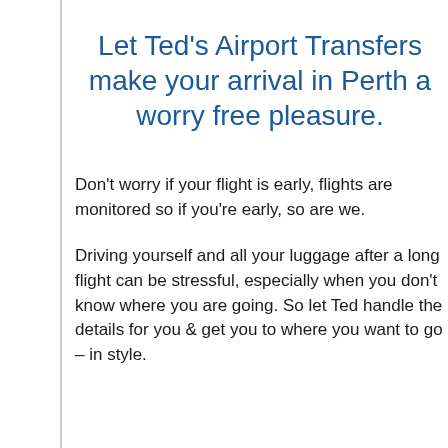Let Ted's Airport Transfers make your arrival in Perth a worry free pleasure.
Don't worry if your flight is early, flights are monitored so if you're early, so are we.
Driving yourself and all your luggage after a long flight can be stressful, especially when you don't know where you are going. So let Ted handle the details for you & get you to where you want to go – in style.